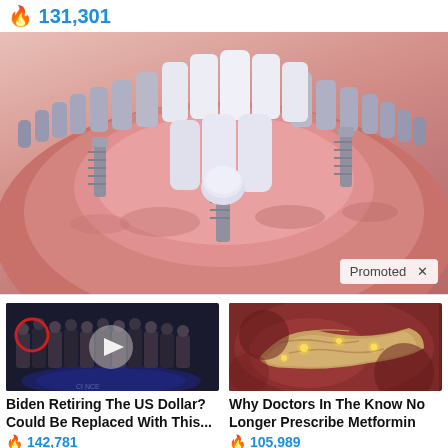🔥 131,301
[Figure (illustration): 3D medical illustration of dental implants in a human jaw with white teeth and pink gum tissue, showing dental implant screws. A 'Promoted X' badge is visible in the bottom right.]
[Figure (photo): Photo of a group of men in suits standing together, with a red circle highlighting one person and a video play button overlay. Appears to be a news/political image.]
Biden Retiring The US Dollar? Could Be Replaced With This...
🔥 142,781
[Figure (photo): Close-up medical photo of human pancreas or organ tissue with glowing spots, reddish-brown background.]
Why Doctors In The Know No Longer Prescribe Metformin
🔥 105,989